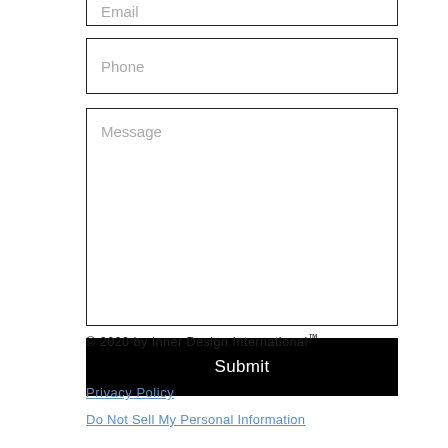Email
Phone
Message
Submit
© 2020 by Inner Design International™
Privacy Policy
Do Not Sell My Personal Information